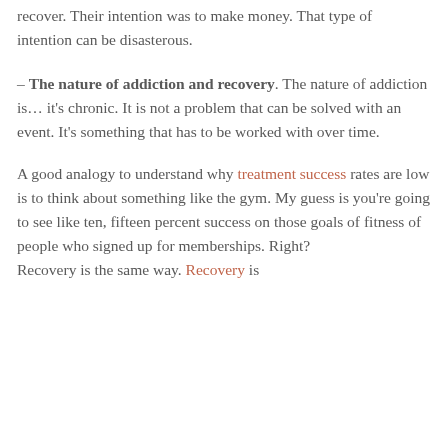recover. Their intention was to make money. That type of intention can be disasterous.
– The nature of addiction and recovery. The nature of addiction is… it's chronic. It is not a problem that can be solved with an event. It's something that has to be worked with over time.
A good analogy to understand why treatment success rates are low is to think about something like the gym. My guess is you're going to see like ten, fifteen percent success on those goals of fitness of people who signed up for memberships. Right? Recovery is the same way. Recovery is